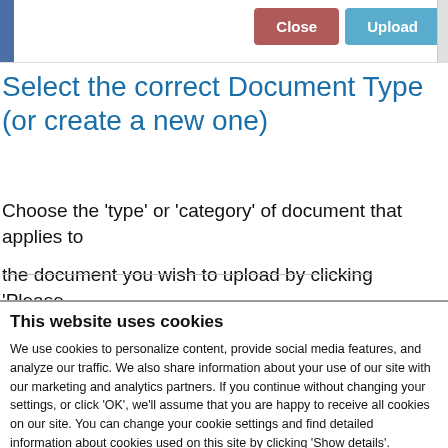[Figure (screenshot): Top bar of a web application interface with Close and Upload buttons and a scrollbar on the right, with a small thumbnail image on the left edge]
Select the correct Document Type (or create a new one)
Choose the 'type' or 'category' of document that applies to the document you wish to upload by clicking 'Please
[Figure (screenshot): Cookie consent banner overlay reading: This website uses cookies. We use cookies to personalize content, provide social media features, and analyze our traffic. We also share information about your use of our site with our marketing and analytics partners. If you continue without changing your settings, or click 'OK', we'll assume that you are happy to receive all cookies on our site. You can change your cookie settings and find detailed information about cookies used on this site by clicking 'Show details'. With an OK button and a Show details link.]